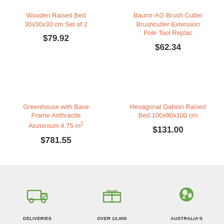Wooden Raised Bed 30x30x30 cm Set of 2
$79.92
Baumr-AG Brush Cutter Brushcutter Extension Pole Tool Replac
$62.34
Greenhouse with Base Frame Anthracite Aluminium 4.75 m²
$781.55
Hexagonal Gabion Raised Bed 100x90x100 cm
$131.00
DELIVERIES   OVER 10,000   AUSTRALIA'S